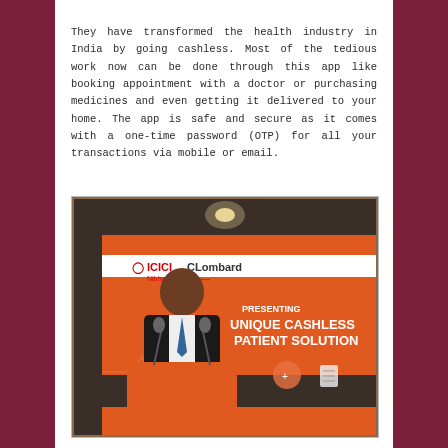They have transformed the health industry in India by going cashless. Most of the tedious work now can be done through this app like booking appointment with a doctor or purchasing medicines and even getting it delivered to your home. The app is safe and secure as it comes with a one-time password (OTP) for all your transactions via mobile or email.
[Figure (photo): A man in a suit speaking at a podium with microphones in front of an orange ICICI Lombard banner that reads 'Nibhaye Vaade' and 'PRESENTING UNIQUE CASHLESS PATIENT SOLUTION']